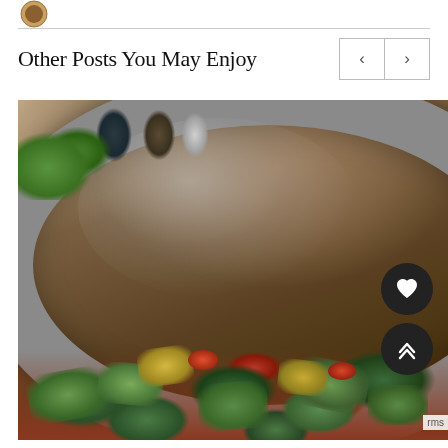[Figure (logo): Small circular logo/avatar in top left corner]
Other Posts You May Enjoy
[Figure (photo): Close-up photo of a stainless steel pot containing chopped zucchini and other vegetables cooking in a tomato-based sauce, with green vegetables and spice jars visible in the background. Two dark circular buttons overlay the right side: a heart/favorite button and an up-arrow/scroll-to-top button.]